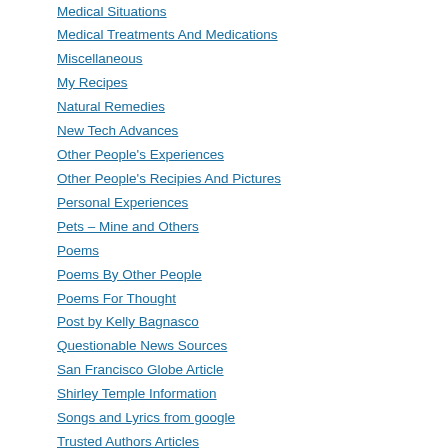Medical Situations
Medical Treatments And Medications
Miscellaneous
My Recipes
Natural Remedies
New Tech Advances
Other People's Experiences
Other People's Recipies And Pictures
Personal Experiences
Pets – Mine and Others
Poems
Poems By Other People
Poems For Thought
Post by Kelly Bagnasco
Questionable News Sources
San Francisco Globe Article
Shirley Temple Information
Songs and Lyrics from google
Trusted Authors Articles